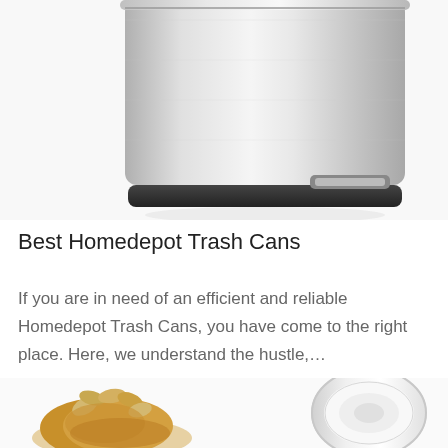[Figure (photo): A stainless steel step trash can with black base and foot pedal, cropped at top, shown on white background]
Best Homedepot Trash Cans
If you are in need of an efficient and reliable Homedepot Trash Cans, you have come to the right place. Here, we understand the hustle,…
[Figure (photo): Two product images side by side: left shows a food item resembling peanut clusters or brittle with peanuts on top; right shows a white round trash can or bowl from top angle]